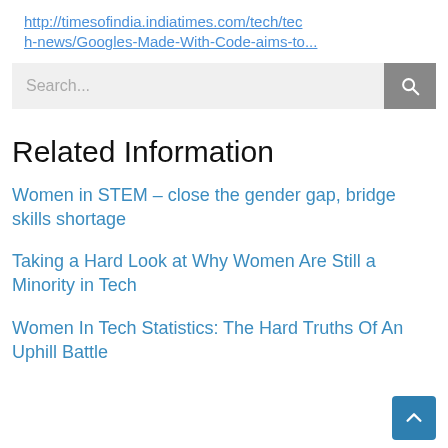http://timesofindia.indiatimes.com/tech/tech-news/Googles-Made-With-Code-aims-to...
[Figure (screenshot): Search bar with placeholder text 'Search...' and a grey search button with magnifying glass icon]
Related Information
Women in STEM – close the gender gap, bridge skills shortage
Taking a Hard Look at Why Women Are Still a Minority in Tech
Women In Tech Statistics: The Hard Truths Of An Uphill Battle